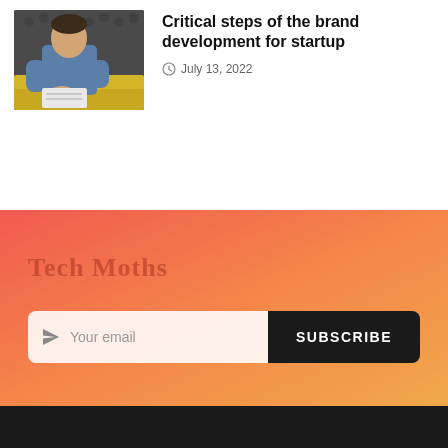[Figure (photo): Photo of a young man in a blue shirt sitting on a yellow couch, writing in a notebook]
Critical steps of the brand development for startup
July 13, 2022
Tech Moths
Your email
SUBSCRIBE